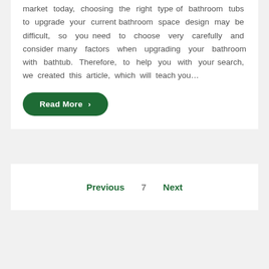market today, choosing the right type of bathroom tubs to upgrade your current bathroom space design may be difficult, so you need to choose very carefully and consider many factors when upgrading your bathroom with bathtub. Therefore, to help you with your search, we created this article, which will teach you…
Read More ›
Previous   7   Next